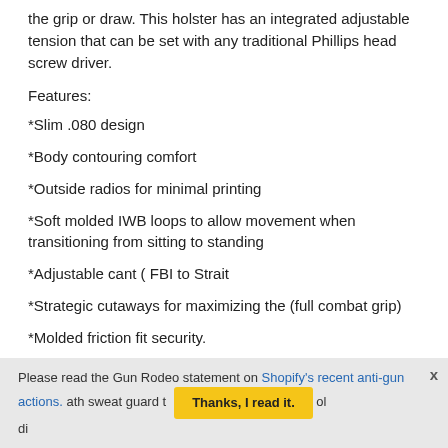the grip or draw. This holster has an integrated adjustable tension that can be set with any traditional Phillips head screw driver.
Features:
*Slim .080 design
*Body contouring comfort
*Outside radios for minimal printing
*Soft molded IWB loops to allow movement when transitioning from sitting to standing
*Adjustable cant ( FBI to Strait
*Strategic cutaways for maximizing the (full combat grip)
*Molded friction fit security.
*Adjustable tension
Please read the Gun Rodeo statement on Shopify's recent anti-gun actions. ath sweat guard t ol di
Thanks, I read it.